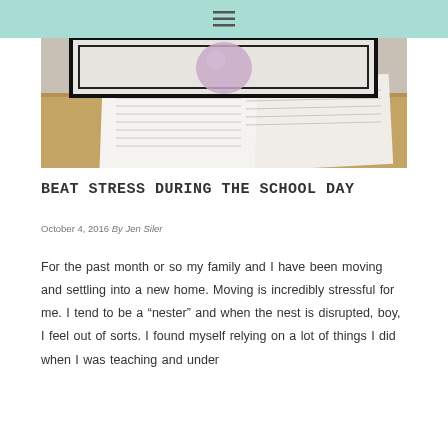Navigation menu icon
[Figure (photo): A desk scene showing papers with lined writing, a purple/lavender ball or object, and what appears to be a framed board in the background. The image is partially cropped showing a wooden desk surface.]
BEAT STRESS DURING THE SCHOOL DAY
October 4, 2016 By Jen Siler
For the past month or so my family and I have been moving and settling into a new home. Moving is incredibly stressful for me. I tend to be a “nester” and when the nest is disrupted, boy, I feel out of sorts. I found myself relying on a lot of things I did when I was teaching and under...